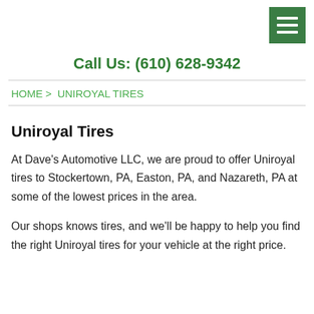[Figure (other): Green hamburger menu button icon with three white horizontal lines]
Call Us: (610) 628-9342
HOME > UNIROYAL TIRES
Uniroyal Tires
At Dave's Automotive LLC, we are proud to offer Uniroyal tires to Stockertown, PA, Easton, PA, and Nazareth, PA at some of the lowest prices in the area.
Our shops knows tires, and we'll be happy to help you find the right Uniroyal tires for your vehicle at the right price.